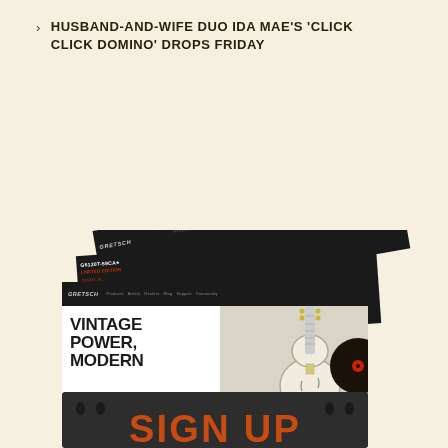HUSBAND-AND-WIFE DUO IDA MAE'S 'CLICK CLICK DOMINO' DROPS FRIDAY
VIEW ALL
[Figure (illustration): A black leather mailbox/envelope holder containing several Gretsch email newsletter cards fanning out. The front card shows a white Gretsch guitar and text 'VINTAGE POWER, MODERN'. The bottom of the mailbox shows 'SIGN UP' in large orange letters on dark background.]